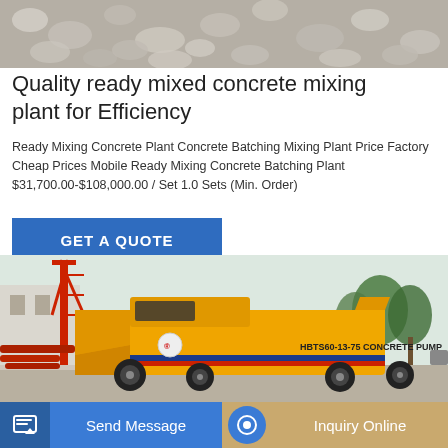[Figure (photo): Top portion of a concrete mixing plant or construction site with gravel/aggregate visible from above]
Quality ready mixed concrete mixing plant for Efficiency
Ready Mixing Concrete Plant Concrete Batching Mixing Plant Price Factory Cheap Prices Mobile Ready Mixing Concrete Batching Plant $31,700.00-$108,000.00 / Set 1.0 Sets (Min. Order)
[Figure (photo): Yellow HBTS60-13-75 concrete pump truck parked outdoors with trees in background and red crane visible on the left]
Send Message
Inquiry Online